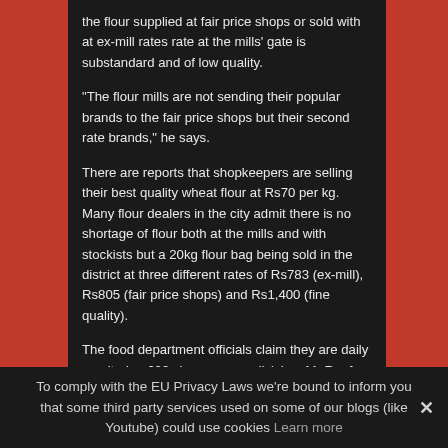the flour supplied at fair price shops or sold with at ex-mill rates rate at the mills' gate is substandard and of low quality.
“The flour mills are not sending their popular brands to the fair price shops but their second rate brands,” he says.
There are reports that shopkeepers are selling their best quality wheat flour at Rs70 per kg. Many flour dealers in the city admit there is no shortage of flour both at the mills and with stockists but a 20kg flour bag being sold in the district at three different rates of Rs783 (ex-mill), Rs805 (fair price shops) and Rs1,400 (fine quality).
The food department officials claim they are daily monitoring 600 shops across division. Mr Rauf, the deputy director of the department, categorically denies reports of the shortage of flour in Sahiwal division.
To comply with the EU Privacy Laws we're bound to inform you that some third party services used on some of our blogs (like Youtube) could use cookies Learn more